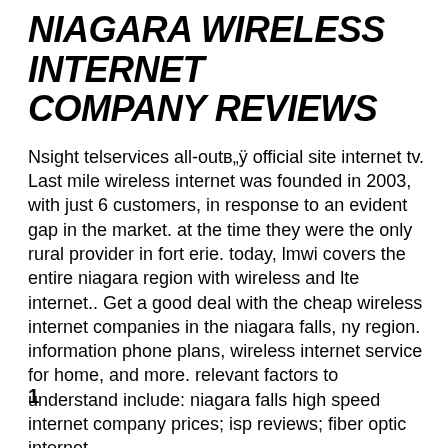NIAGARA WIRELESS INTERNET COMPANY REVIEWS
Nsight telservices all-outв„ÿ official site internet tv. Last mile wireless internet was founded in 2003, with just 6 customers, in response to an evident gap in the market. at the time they were the only rural provider in fort erie. today, lmwi covers the entire niagara region with wireless and lte internet.. Get a good deal with the cheap wireless internet companies in the niagara falls, ny region. information phone plans, wireless internet service for home, and more. relevant factors to understand include: niagara falls high speed internet company prices; isp reviews; fiber optic internet.... 2020-06-07
1